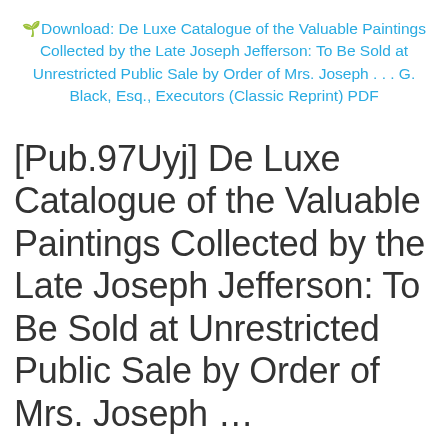🌱Download: De Luxe Catalogue of the Valuable Paintings Collected by the Late Joseph Jefferson: To Be Sold at Unrestricted Public Sale by Order of Mrs. Joseph . . . G. Black, Esq., Executors (Classic Reprint) PDF
[Pub.97Uyj] De Luxe Catalogue of the Valuable Paintings Collected by the Late Joseph Jefferson: To Be Sold at Unrestricted Public Sale by Order of Mrs. Joseph …